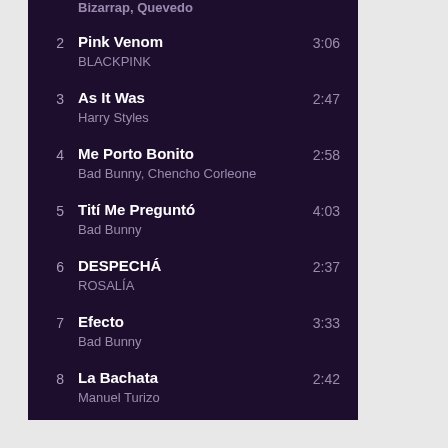2 Pink Venom - BLACKPINK - 3:06
3 As It Was - Harry Styles - 2:47
4 Me Porto Bonito - Bad Bunny, Chencho Corleone - 2:58
5 Tití Me Preguntó - Bad Bunny - 4:03
6 DESPECHÁ - ROSALÍA - 2:37
7 Efecto - Bad Bunny - 3:33
8 La Bachata - Manuel Turizo - 2:42
9 Running Up That Hill (A Deal ... - 5:00